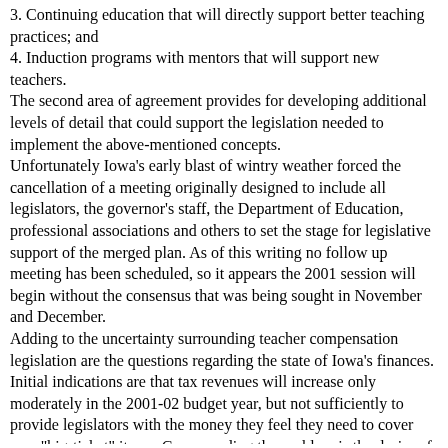3. Continuing education that will directly support better teaching practices; and
4. Induction programs with mentors that will support new teachers.
The second area of agreement provides for developing additional levels of detail that could support the legislation needed to implement the above-mentioned concepts.
Unfortunately Iowa's early blast of wintry weather forced the cancellation of a meeting originally designed to include all legislators, the governor's staff, the Department of Education, professional associations and others to set the stage for legislative support of the merged plan. As of this writing no follow up meeting has been scheduled, so it appears the 2001 session will begin without the consensus that was being sought in November and December.
Adding to the uncertainty surrounding teacher compensation legislation are the questions regarding the state of Iowa's finances. Initial indications are that tax revenues will increase only moderately in the 2001-02 budget year, but not sufficiently to provide legislators with the money they feel they need to cover new "big-ticket" items. Compounding the problem is the desire of the Republican leadership to authorize additional tax cuts.
The state's Revenue Estimating Conference is anticipating a 4.4 percent growth in tax revenues for 2001-02. That lead Legislative Fiscal Bureau director Dennis Prouty to conclude that the state will be short of funds to pay for currently authorized programs and to